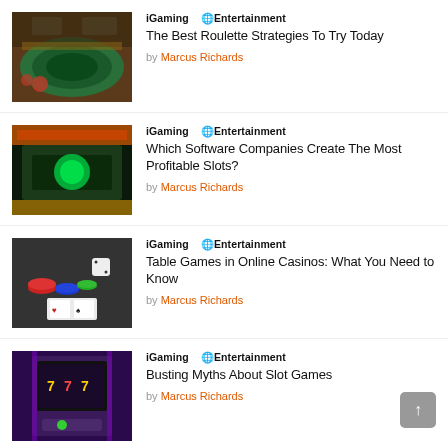[Figure (photo): Roulette table with hands placing bets]
iGaming   🌐Entertainment
The Best Roulette Strategies To Try Today
by Marcus Richards
[Figure (photo): Green illuminated gaming machine/slot machine screen]
iGaming   🌐Entertainment
Which Software Companies Create The Most Profitable Slots?
by Marcus Richards
[Figure (photo): Casino chips, dice, and playing cards on dark surface]
iGaming   🌐Entertainment
Table Games in Online Casinos: What You Need to Know
by Marcus Richards
[Figure (photo): Slot machine with purple lighting and digital display]
iGaming   🌐Entertainment
Busting Myths About Slot Games
by Marcus Richards